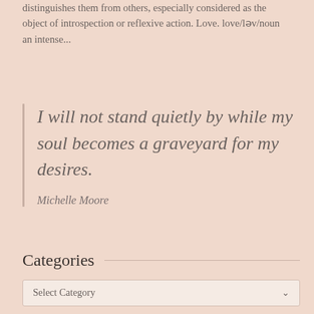distinguishes them from others, especially considered as the object of introspection or reflexive action. Love. love/ləv/noun an intense...
I will not stand quietly by while my soul becomes a graveyard for my desires.

Michelle Moore
Categories
Select Category